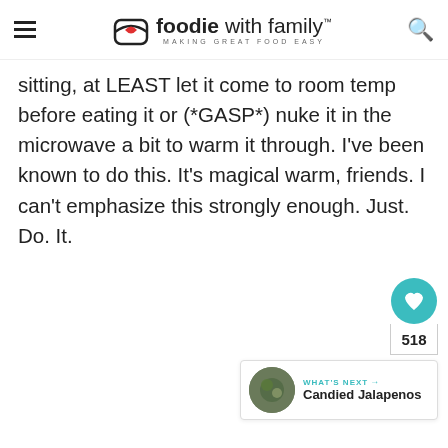foodie with family™ MAKING GREAT FOOD EASY
sitting, at LEAST let it come to room temp before eating it or (*GASP*) nuke it in the microwave a bit to warm it through. I've been known to do this. It's magical warm, friends. I can't emphasize this strongly enough. Just. Do. It.
[Figure (other): Social sidebar with heart/like button (teal), count 518, and share button]
[Figure (other): What's Next panel with thumbnail image and title Candied Jalapenos]